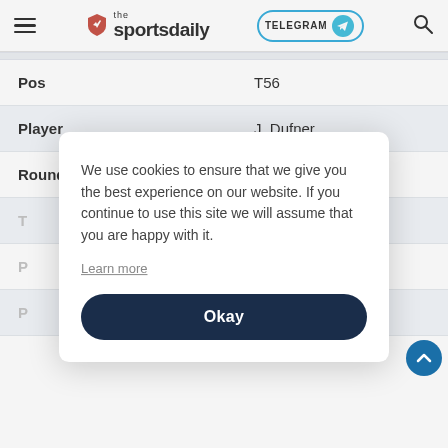the sportsdaily — TELEGRAM — search
| Field | Value |
| --- | --- |
| Pos | T56 |
| Player | J. Dufner |
| Round 1 Score | 2 |
| T |  |
| P |  |
| P |  |
We use cookies to ensure that we give you the best experience on our website. If you continue to use this site we will assume that you are happy with it.
Learn more
Okay